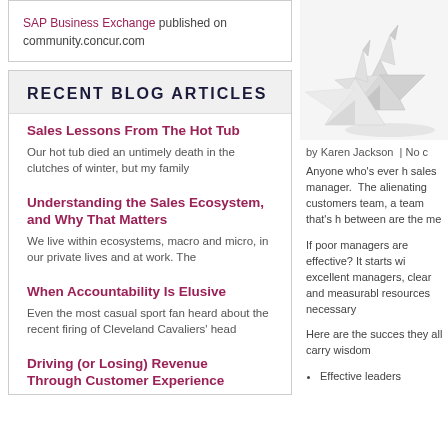SAP Business Exchange published on community.concur.com
RECENT BLOG ARTICLES
Sales Lessons From The Hot Tub — Our hot tub died an untimely death in the clutches of winter, but my family
Understanding the Sales Ecosystem, and Why That Matters — We live within ecosystems, macro and micro, in our private lives and at work. The
When Accountability Is Elusive — Even the most casual sport fan heard about the recent firing of Cleveland Cavaliers' head
Driving (or Losing) Revenue Through Customer Experience
[Figure (illustration): Origami paper cranes illustration in grey/white tones]
by Karen Jackson | No c
Anyone who's ever h sales manager. The alienating customers team, a team that's h between are the me
If poor managers are effective? It starts wi excellent managers, clear and measurabl resources necessary
Here are the succes they all carry wisdom
Effective leaders